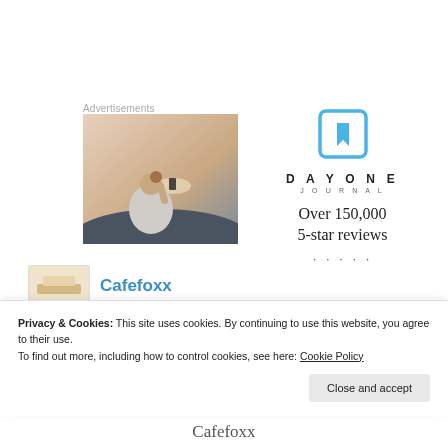Advertisements
[Figure (photo): Person photographing sunset with smartphone, back view, wearing white t-shirt]
[Figure (logo): Day One Journal logo: blue bookmark icon, DAYONE in spaced capitals, JOURNAL below, text Over 150,000 5-star reviews with star dots]
[Figure (photo): Cafefoxx thumbnail image]
Cafefoxx
Privacy & Cookies: This site uses cookies. By continuing to use this website, you agree to their use.
To find out more, including how to control cookies, see here: Cookie Policy
Close and accept
Cafefoxx